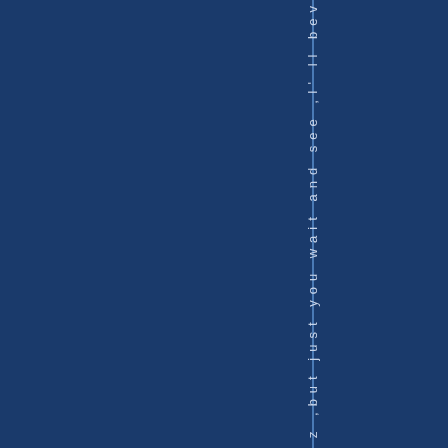z ,but just you wait and see ,I' ll bev